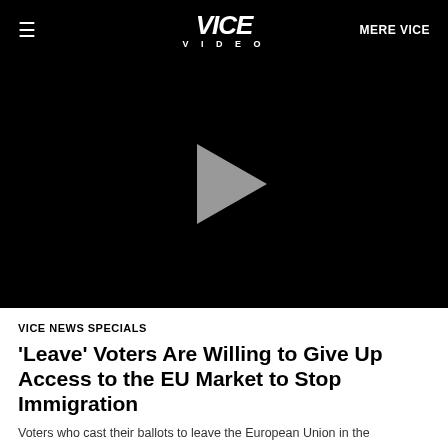VICE VIDEO | MERE VICE
[Figure (screenshot): Black video player area with a gray play button triangle centered on screen]
VICE NEWS SPECIALS
'Leave' Voters Are Willing to Give Up Access to the EU Market to Stop Immigration
Voters who cast their ballots to leave the European Union in the